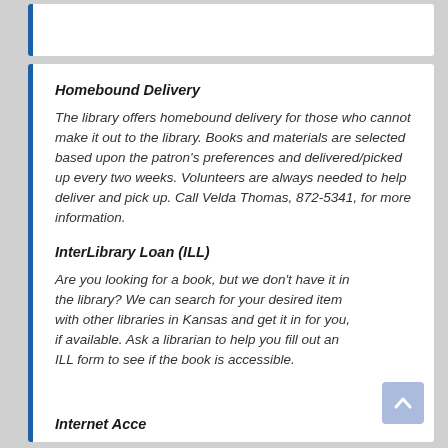Homebound Delivery
The library offers homebound delivery for those who cannot make it out to the library.  Books and materials are selected based upon the patron's preferences and delivered/picked up every two weeks.  Volunteers are always needed to help deliver and pick up.  Call Velda Thomas, 872-5341, for more information.
InterLibrary Loan (ILL)
Are you looking for a book, but we don't have it in the library? We can search for your desired item with other libraries in Kansas and get it in for you, if available. Ask a librarian to help you fill out an ILL form to see if the book is accessible.
Internet Access